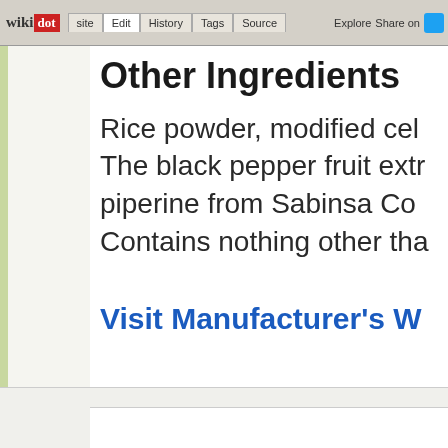wikidot | Edit | History | Tags | Source | Explore | Share on
Other Ingredients
Rice powder, modified cel
The black pepper fruit extr piperine from Sabinsa Co Contains nothing other tha
Visit Manufacturer's W